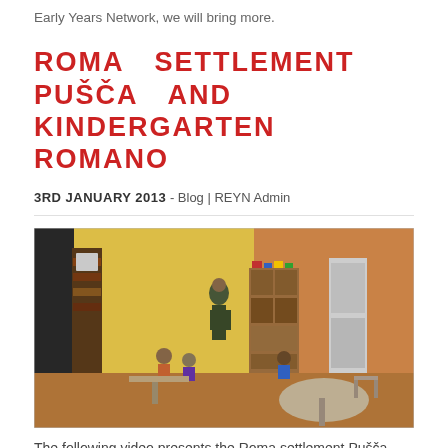Early Years Network, we will bring more.
ROMA SETTLEMENT PUŠČA AND KINDERGARTEN ROMANO
3RD JANUARY 2013 - Blog | REYN Admin
[Figure (photo): Interior of a kindergarten classroom with yellow walls, children seated at tables, a teacher standing, and wooden furniture with educational materials.]
The following video presents the Roma settlement Pušča (north-east of Slovenia) and its kindergarten "Romano", which aired on CNN in 2011. Pušča is the largest Slovenian